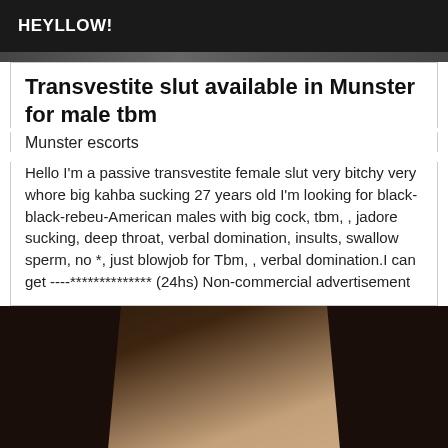HEYLLOW!
Transvestite slut available in Munster for male tbm
Munster escorts
Hello I'm a passive transvestite female slut very bitchy very whore big kahba sucking 27 years old I'm looking for black-black-rebeu-American males with big cock, tbm, , jadore sucking, deep throat, verbal domination, insults, swallow sperm, no *, just blowjob for Tbm, , verbal domination.I can get ----************** (24hs) Non-commercial advertisement
[Figure (photo): Photo of a dark-haired woman with gold ornament in background]